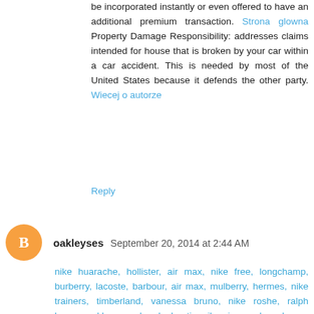be incorporated instantly or even offered to have an additional premium transaction. Strona glowna Property Damage Responsibility: addresses claims intended for house that is broken by your car within a car accident. This is needed by most of the United States because it defends the other party. Wiecej o autorze
Reply
oakleyses September 20, 2014 at 2:44 AM
nike huarache, hollister, air max, nike free, longchamp, burberry, lacoste, barbour, air max, mulberry, hermes, nike trainers, timberland, vanessa bruno, nike roshe, ralph lauren, oakley pas cher, louboutin, nike air max, longchamp, louis vuitton, sac louis vuitton, hogan, nike roshe run, vans, ray ban, hollister, converse pas cher, lululemon, tn pas cher, montre pas cher, vans outlet, air force, abercrombie and fitch, longchamp, karen millen, ralph lauren, michael kors, ray ban pas cher, nike free, sac guess, michael kors, michael kors, north face, nike blazer, new balance pas cher, air jordan, louis vuitton, hollister, louis vuitton